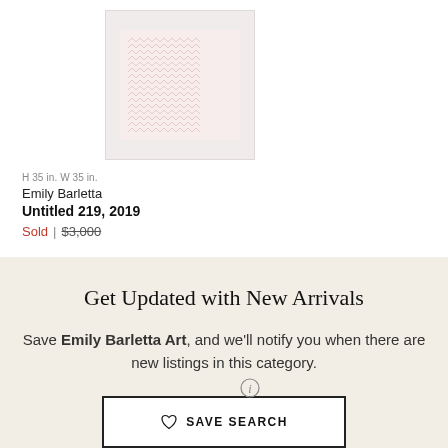[Figure (photo): Artwork image showing a textile/woven pattern in light pink/rose tones on a pale background, roughly square format]
H 35 in. W 35 in.
Emily Barletta
Untitled 219, 2019
Sold | $3,000
Get Updated with New Arrivals
Save Emily Barletta Art, and we'll notify you when there are new listings in this category.
SAVE SEARCH